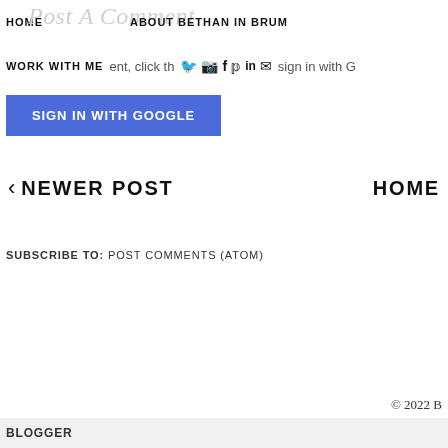HOME   POST A COMMENT   ABOUT BETHAN IN BRUM
WORK WITH ME   [social icons]   sign in with G
SIGN IN WITH GOOGLE
< NEWER POST   HOME
SUBSCRIBE TO: POST COMMENTS (ATOM)
© 2022 B
BLOGGER